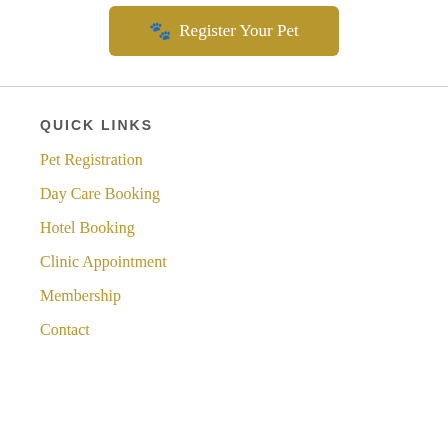[Figure (other): A gold/tan colored button with paw print icon and text 'Register Your Pet']
QUICK LINKS
Pet Registration
Day Care Booking
Hotel Booking
Clinic Appointment
Membership
Contact